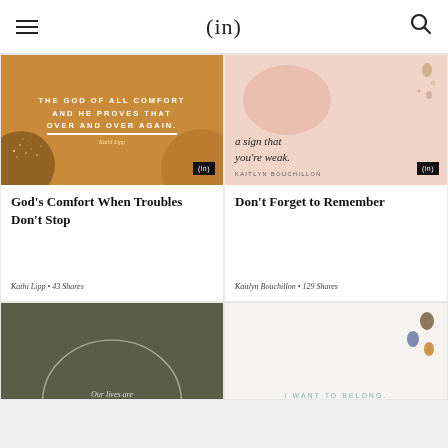(in)
[Figure (illustration): Golden/amber colored card image with white text reading THE GOD OF ALL COMFORT AND HE PROVES THAT OVER AND OVER AGAIN. by Kathi Lipp, with decorative circles and dots]
God’s Comfort When Troubles Don’t Stop
Kathi Lipp • 43 Shares
[Figure (illustration): Pink/blush card image with text: a sign that you’re weak. KAITLYN BOUCHILLON, with decorative blush circle and small gold/pearl accents]
Don’t Forget to Remember
Kaitlyn Bouchillon • 129 Shares
[Figure (illustration): Dark olive green card with a thin white curved circle arc and partial text 'Our lives are']
[Figure (illustration): Cream/off-white card with small stone/pebble illustrations and text I WANT TO BELONG.]